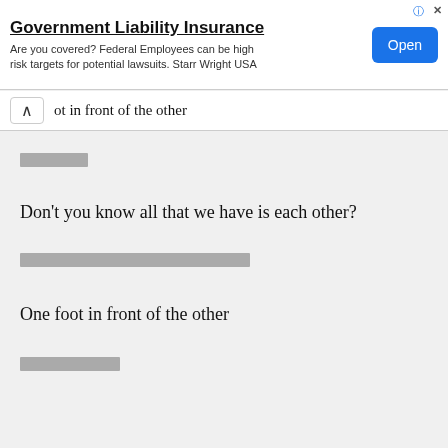[Figure (other): Advertisement banner for Government Liability Insurance by Starr Wright USA with an Open button]
ot in front of the other
[redacted]
Don't you know all that we have is each other?
[redacted long line]
One foot in front of the other
[redacted]